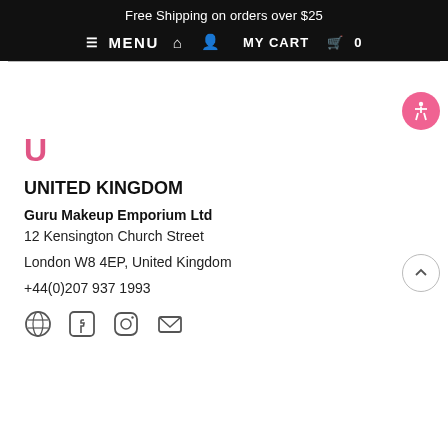Free Shipping on orders over $25
MENU  MY CART  0
U
UNITED KINGDOM
Guru Makeup Emporium Ltd
12 Kensington Church Street
London W8 4EP, United Kingdom
+44(0)207 937 1993